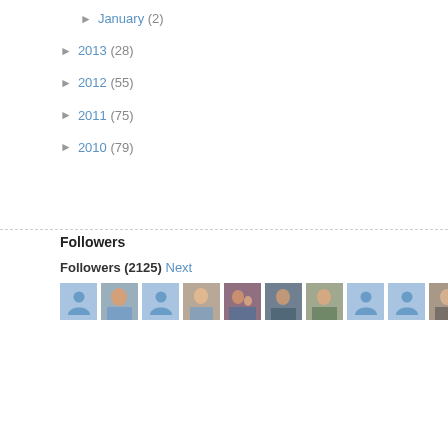► January (2)
► 2013 (28)
► 2012 (55)
► 2011 (75)
► 2010 (79)
Followers
Followers (2125) Next
[Figure (photo): Row of 10 follower avatar images, mix of profile photos and default blue person icons]